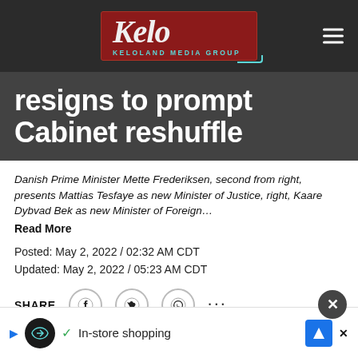[Figure (logo): Keloland Media Group logo - red box with italic Kelo script text and teal KELOLAND MEDIA GROUP subtext, on dark header bar with hamburger menu icon]
resigns to prompt Cabinet reshuffle
Danish Prime Minister Mette Frederiksen, second from right, presents Mattias Tesfaye as new Minister of Justice, right, Kaare Dybvad Bek as new Minister of Foreign…
Read More
Posted: May 2, 2022 / 02:32 AM CDT
Updated: May 2, 2022 / 05:23 AM CDT
SHARE
COPE... nced a Cabi... ter
[Figure (other): Ad overlay at bottom: close button (X), play icon, circular logo, checkmark, In-store shopping text, navigation arrow icon, X icon]